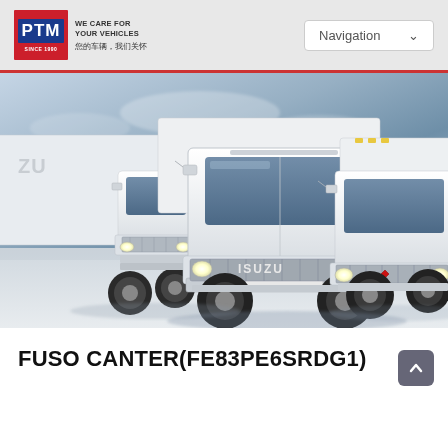[Figure (logo): PTM company logo — red rectangle with white PTM letters on blue background, tagline WE CARE FOR YOUR VEHICLES and Chinese text 您的车辆，我们关怀]
[Figure (screenshot): Navigation dropdown menu button showing 'Navigation' text with a down chevron, on a light grey header bar]
[Figure (photo): Hero banner photograph of three white commercial trucks (Isuzu in center, another Isuzu on left, Mitsubishi Fuso Canter on right) against a blue-grey sky background]
FUSO CANTER(FE83PE6SRDG1)